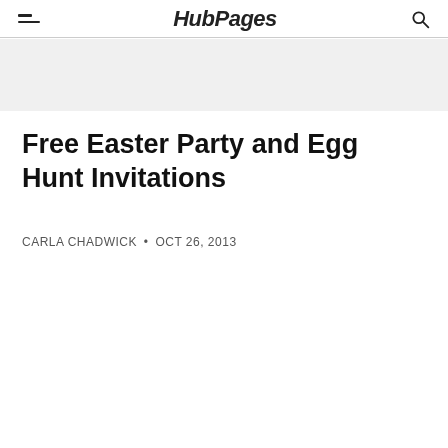HubPages
Free Easter Party and Egg Hunt Invitations
CARLA CHADWICK • OCT 26, 2013